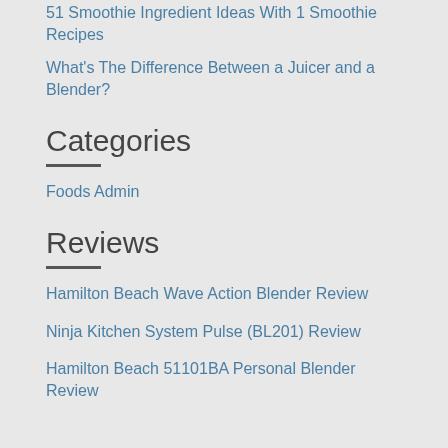51 Smoothie Ingredient Ideas With 1 Smoothie Recipes
What's The Difference Between a Juicer and a Blender?
Categories
Foods Admin
Reviews
Hamilton Beach Wave Action Blender Review
Ninja Kitchen System Pulse (BL201) Review
Hamilton Beach 51101BA Personal Blender Review